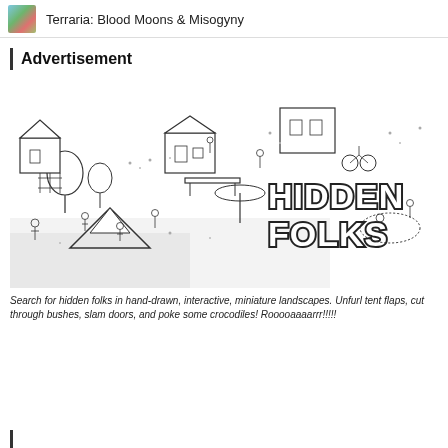Terraria: Blood Moons & Misogyny
Advertisement
[Figure (illustration): Hidden Folks game advertisement banner — black and white hand-drawn scene with many small characters in a miniature landscape, with large outlined text reading HIDDEN FOLKS on the right side.]
Search for hidden folks in hand-drawn, interactive, miniature landscapes. Unfurl tent flaps, cut through bushes, slam doors, and poke some crocodiles! Rooooaaaarrr!!!!!